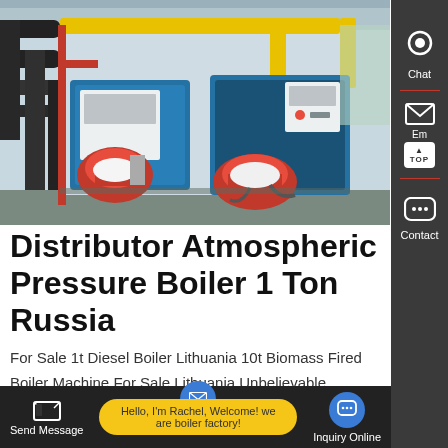[Figure (photo): Industrial boiler room with blue boiler units, red safety helmet burners, yellow gas pipes overhead, and black insulated pipes on the left wall.]
Distributor Atmospheric Pressure Boiler 1 Ton Russia
For Sale 1t Diesel Boiler Lithuania 10t Biomass Fired Boiler Machine For Sale Lithuania Unbelievable Industrial 200K LPG Coal Gas and Diesel Oil Fired Steam Boiler. US $6000 / ... Condition Select Shanghaino Boiler Manufacturing ...